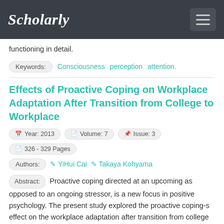Scholarly
functioning in detail.
Keywords: Consciousness perception attention.
Effects of Proactive Coping on Workplace Adaptation After Transition from College to Workplace
Year: 2013  Volume: 7  Issue: 3  326 - 329 Pages
Authors: YiHui Cai  Takaya Kohyama
Abstract: Proactive coping directed at an upcoming as opposed to an ongoing stressor, is a new focus in positive psychology. The present study explored the proactive coping-s effect on the workplace adaptation after transition from college to workplace. In order to demonstrate the influence process between them, we constructed the model of proactive coping style effecting the actual positive coping efforts and outcomes by mediating proactive competence during one year after the